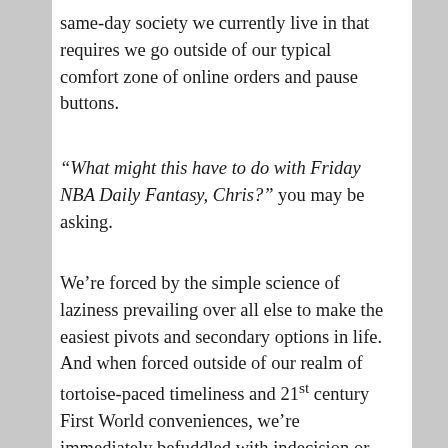same-day society we currently live in that requires we go outside of our typical comfort zone of online orders and pause buttons.
“What might this have to do with Friday NBA Daily Fantasy, Chris?” you may be asking.
We’re forced by the simple science of laziness prevailing over all else to make the easiest pivots and secondary options in life. And when forced outside of our realm of tortoise-paced timeliness and 21st century First World conveniences, we’re immediately befuddled with indecision or haphazardly hair-trigger reactions.
Advertisements